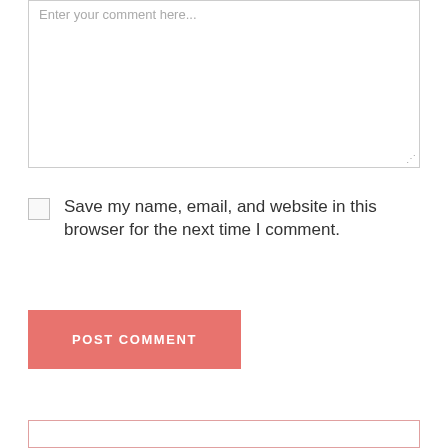[Figure (screenshot): Comment text area input box with placeholder text 'Enter your comment here...' and a resize handle in the bottom right corner]
Save my name, email, and website in this browser for the next time I comment.
[Figure (screenshot): POST COMMENT button in salmon/coral pink color with white uppercase text]
[Figure (screenshot): Bottom input field with pink/salmon border, partially visible at bottom of page]